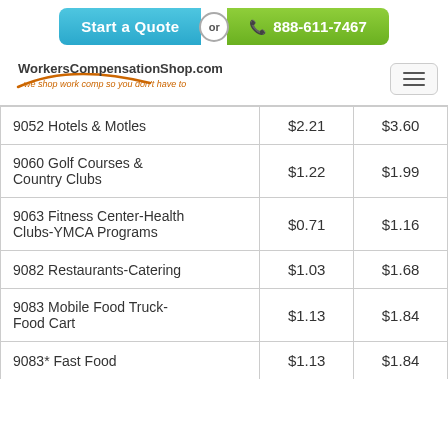[Figure (screenshot): Start a Quote or call 888-611-7467 button banner]
[Figure (logo): WorkersCompensationShop.com logo with tagline 'we shop work comp so you don't have to']
| 9052 Hotels & Motles | $2.21 | $3.60 |
| 9060 Golf Courses & Country Clubs | $1.22 | $1.99 |
| 9063 Fitness Center-Health Clubs-YMCA Programs | $0.71 | $1.16 |
| 9082 Restaurants-Catering | $1.03 | $1.68 |
| 9083 Mobile Food Truck-Food Cart | $1.13 | $1.84 |
| 9083* Fast Food | $1.13 | $1.84 |